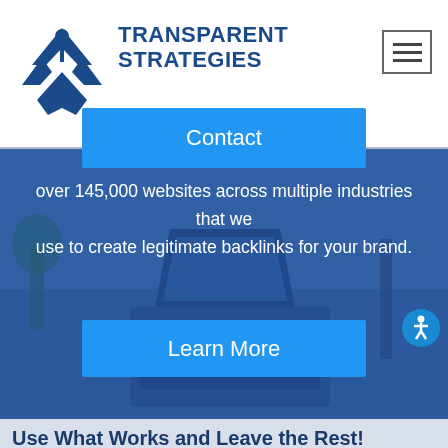[Figure (logo): Transparent Strategies logo: blue geometric diamond/hands shape with person figure]
TRANSPARENT STRATEGIES
[Figure (other): Hamburger menu icon (three horizontal lines in a square border)]
Contact
[Figure (photo): Blue-tinted photo of a laptop on a desk with keyboard visible]
over 145,000 websites across multiple industries that we use to create legitimate backlinks for your brand.
Learn More
Use What Works and Leave the Rest!